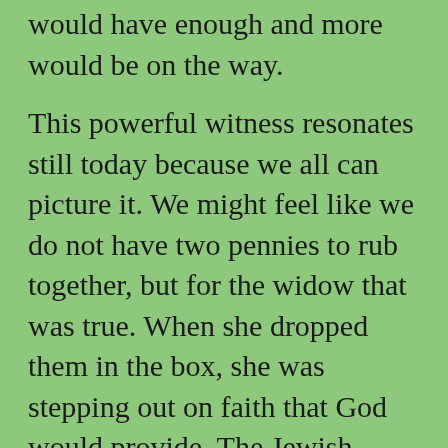would have enough and more would be on the way.
This powerful witness resonates still today because we all can picture it. We might feel like we do not have two pennies to rub together, but for the widow that was true. When she dropped them in the box, she was stepping out on faith that God would provide. The Jewish name for the God-who-provides is Jehovah Jireh or YHWH Jireh.